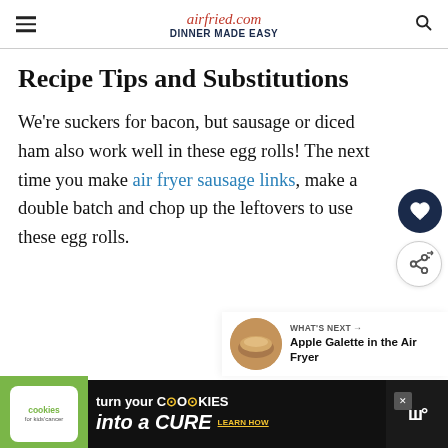airfried.com DINNER MADE EASY
Recipe Tips and Substitutions
We're suckers for bacon, but sausage or diced ham also work well in these egg rolls! The next time you make air fryer sausage links, make a double batch and chop up the leftovers to use these egg rolls.
[Figure (other): Dark navy circular save/favorite button with heart icon]
[Figure (other): White circular share button with share icon]
[Figure (other): What's Next widget showing Apple Galette in the Air Fryer with a round food image]
[Figure (other): Advertisement banner: Cookies for Kids' Cancer — turn your cookies into a CURE — LEARN HOW]